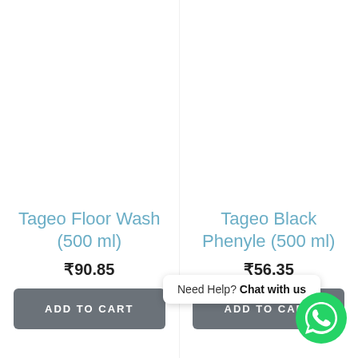Tageo Floor Wash (500 ml)
₹90.85
ADD TO CART
Tageo Black Phenyle (500 ml)
₹56.35
ADD TO CART
Need Help? Chat with us